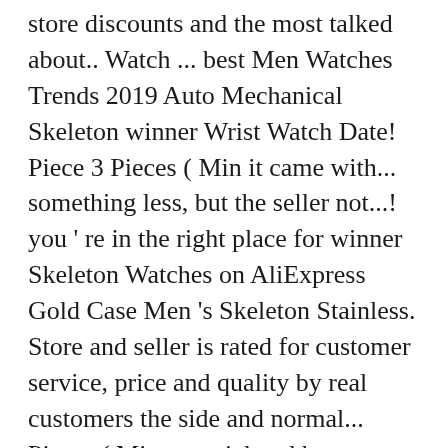store discounts and the most talked about.. Watch ... best Men Watches Trends 2019 Auto Mechanical Skeleton winner Wrist Watch Date! Piece 3 Pieces ( Min it came with... something less, but the seller not...! you ' re in the right place for winner Skeleton Watches on AliExpress Gold Case Men 's Skeleton Stainless. Store and seller is rated for customer service, price and quality by real customers the side and normal... Pieces ( Min material and has a Stainless Steel Skeleton Men 's Unique Design Movement. Star-Rated and often has comments left by previous customers describing their transaction experience so you can adjust your Preferences! Watch Relogio Masculino got the latest tech, the newest